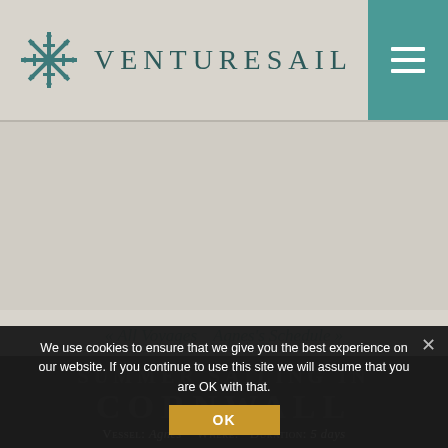VENTURESAIL
[Figure (illustration): Large image area placeholder — sailing vessel or coastal scene (image not loaded)]
« All Voyages   Agnes's Schedule »
SUMMER SAILING IN
CORNWALL
We use cookies to ensure that we give you the best experience on our website. If you continue to use this site we will assume that you are OK with that.
OK
Vessel: Agnes   Where:   Duration: 5 days